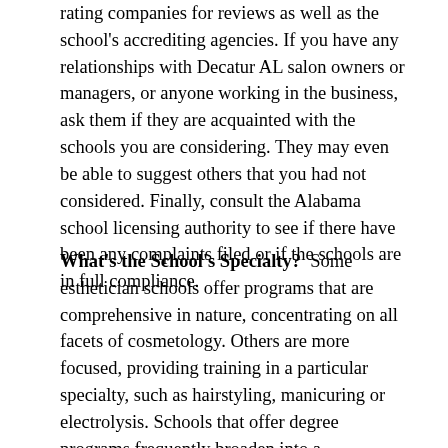rating companies for reviews as well as the school's accrediting agencies. If you have any relationships with Decatur AL salon owners or managers, or anyone working in the business, ask them if they are acquainted with the schools you are considering. They may even be able to suggest others that you had not considered. Finally, consult the Alabama school licensing authority to see if there have been any complaints filed or if the schools are in full compliance.
What's the School's Specialty? Some esthetician schools offer programs that are comprehensive in nature, concentrating on all facets of cosmetology. Others are more focused, providing training in a particular specialty, such as hairstyling, manicuring or electrolysis. Schools that offer degree programs frequently broaden into a management and marketing curriculum. So it's imperative that you pick a school that focuses on your area of interest. Since your goal is to be trained, ensure that it serves your intent that the school...